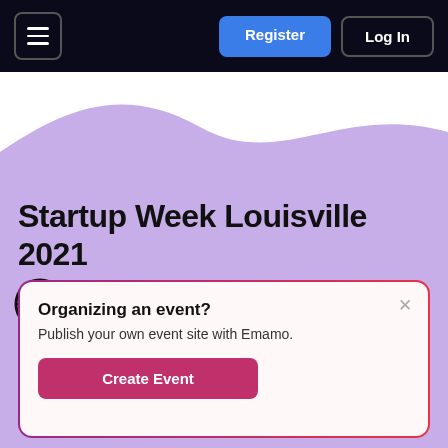Register | Log In
Startup Week Louisville 2021
[Figure (infographic): Social media icons row: globe/website icon, Facebook icon, Instagram icon, Twitter icon]
Organizing an event?
Publish your own event site with Emamo.
Create Event